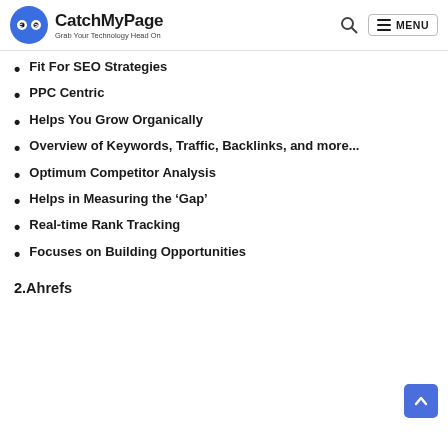CatchMyPage — Grab Your Technology Head On
Fit For SEO Strategies
PPC Centric
Helps You Grow Organically
Overview of Keywords, Traffic, Backlinks, and more...
Optimum Competitor Analysis
Helps in Measuring the 'Gap'
Real-time Rank Tracking
Focuses on Building Opportunities
2.Ahrefs